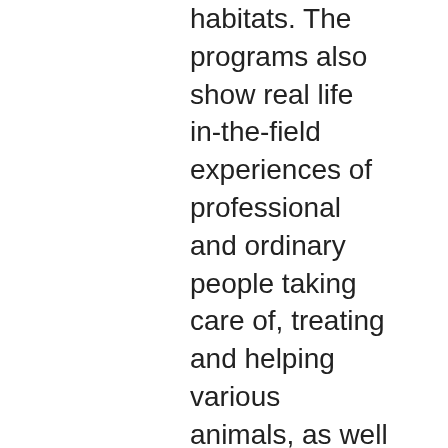habitats. The programs also show real life in-the-field experiences of professional and ordinary people taking care of, treating and helping various animals, as well as exhibiting good social responsibility and promoting strong personal and community values. "ANIMAL RESCUE" as delivered is formatted to allow for no more than 14 minutes of total commercial time per broadcast hour (7 minutes per half-hour). "ANIMAL RESCUE" does not display any Internet web site address or host selling during or adjacent to the program, and is otherwise in compliance with Sections 73.670(a) through (d) of the